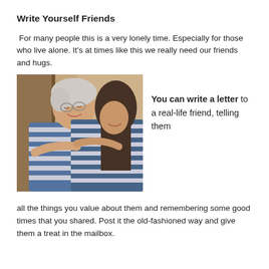Write Yourself Friends
For many people this is a very lonely time. Especially for those who live alone. It's at times like this we really need our friends and hugs.
[Figure (photo): Two women hugging warmly — an older woman with short white hair and glasses wearing a blue striped top, and a younger woman with dark hair wearing a blue and white striped top.]
You can write a letter to a real-life friend, telling them all the things you value about them and remembering some good times that you shared. Post it the old-fashioned way and give them a treat in the mailbox.